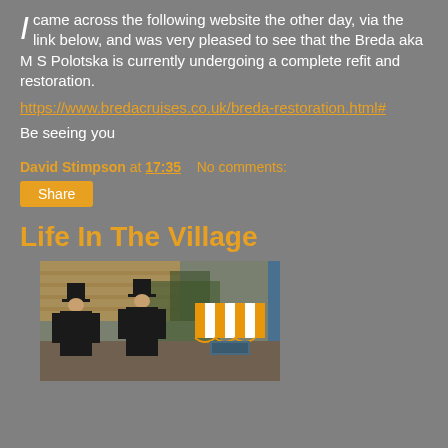I came across the following website the other day, via the link below, and was very pleased to see that the Breda aka M S Polotska is currently undergoing a complete refit and restoration.
https://www.bredacruises.co.uk/breda-restoration.html#
Be seeing you
David Stimpson at 17:35    No comments:
Share
Life In The Village
[Figure (photo): Two men in black top hats and suits seen from behind, standing in a village street with stone buildings and an orange and white striped awning on the right]